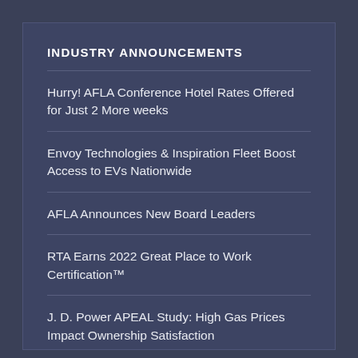INDUSTRY ANNOUNCEMENTS
Hurry! AFLA Conference Hotel Rates Offered for Just 2 More weeks
Envoy Technologies & Inspiration Fleet Boost Access to EVs Nationwide
AFLA Announces New Board Leaders
RTA Earns 2022 Great Place to Work Certification™
J. D. Power APEAL Study: High Gas Prices Impact Ownership Satisfaction
Rain Capital ARM to Acquire Members...